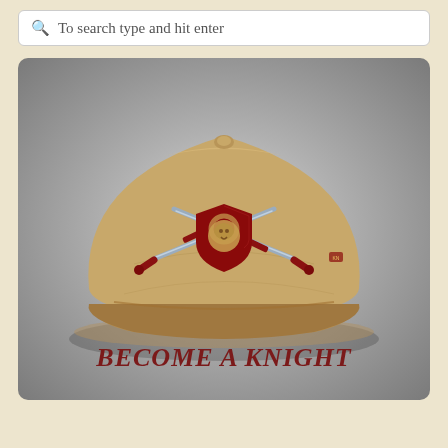To search type and hit enter
[Figure (photo): A tan/khaki baseball cap with an embroidered emblem showing two crossed swords and a dark red heraldic shield with a lion's head, displayed on a gray gradient background. Text below reads 'BECOME A KNIGHT'.]
BECOME A KNIGHT